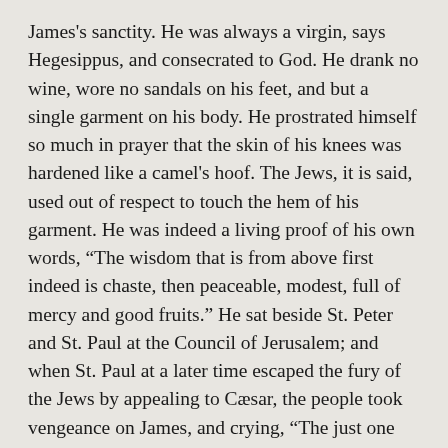James's sanctity. He was always a virgin, says Hegesippus, and consecrated to God. He drank no wine, wore no sandals on his feet, and but a single garment on his body. He prostrated himself so much in prayer that the skin of his knees was hardened like a camel's hoof. The Jews, it is said, used out of respect to touch the hem of his garment. He was indeed a living proof of his own words, “The wisdom that is from above first indeed is chaste, then peaceable, modest, full of mercy and good fruits.” He sat beside St. Peter and St. Paul at the Council of Jerusalem; and when St. Paul at a later time escaped the fury of the Jews by appealing to Cæsar, the people took vengeance on James, and crying, “The just one hath erred,” stoned him to death.
Reflection.—The Church commemorates on the same day St. Philip and James...